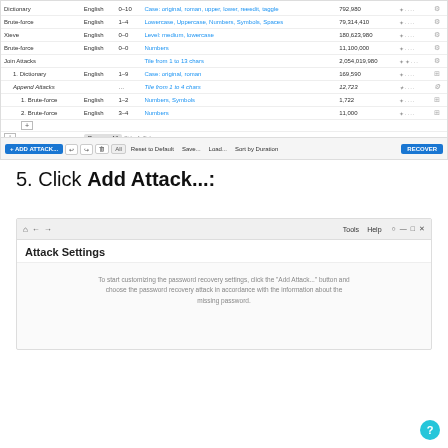[Figure (screenshot): Password recovery software UI showing attack configuration table with Dictionary, Brute-force, Xieve, Join Attacks rows and a toolbar with Add Attack, Recover buttons]
5. Click Add Attack...:
[Figure (screenshot): Attack Settings window showing navigation bar, Attack Settings title, and instructional text about using Add Attack button to choose password recovery attack]